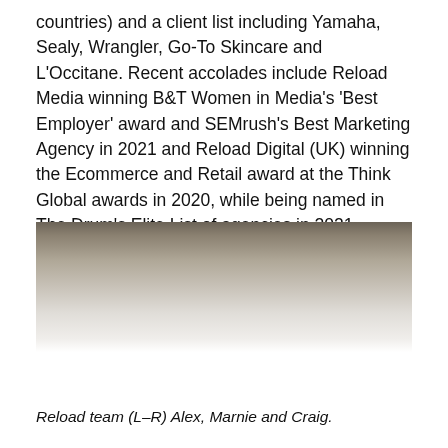countries) and a client list including Yamaha, Sealy, Wrangler, Go-To Skincare and L'Occitane. Recent accolades include Reload Media winning B&T Women in Media's 'Best Employer' award and SEMrush's Best Marketing Agency in 2021 and Reload Digital (UK) winning the Ecommerce and Retail award at the Think Global awards in 2020, while being named in The Drum's Elite List of agencies in 2021.
[Figure (photo): A narrow horizontal photo strip showing what appears to be part of a team photo, partially visible, with muted warm tones. The image fades into white below.]
Reload team (L–R) Alex, Marnie and Craig.